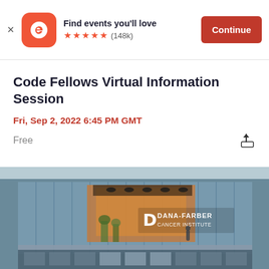Find events you'll love ★★★★★ (148k) Continue
Code Fellows Virtual Information Session
Fri, Sep 2, 2022 6:45 PM GMT
Free
[Figure (photo): Exterior photo of Dana-Farber Cancer Institute building with large glass facade, logo visible in center]